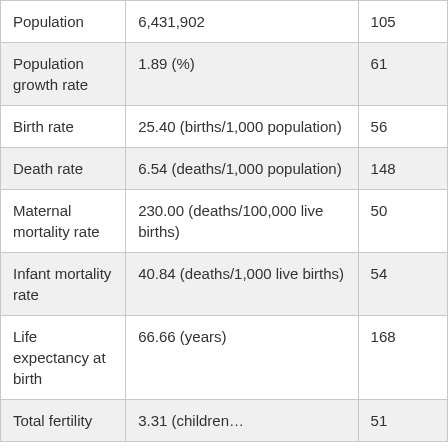| Population | 6,431,902 | 105 |
| Population growth rate | 1.89 (%) | 61 |
| Birth rate | 25.40 (births/1,000 population) | 56 |
| Death rate | 6.54 (deaths/1,000 population) | 148 |
| Maternal mortality rate | 230.00 (deaths/100,000 live births) | 50 |
| Infant mortality rate | 40.84 (deaths/1,000 live births) | 54 |
| Life expectancy at birth | 66.66 (years) | 168 |
| Total fertility | 3.31 (children... | 51 |